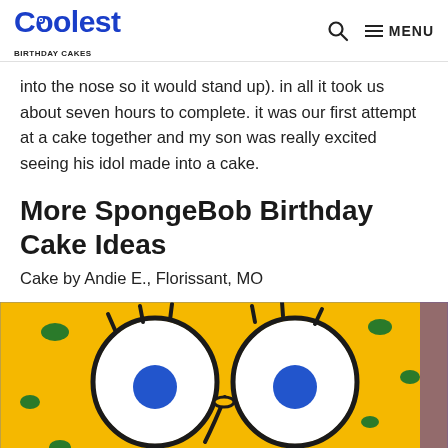Coolest Birthday Cakes — MENU
into the nose so it would stand up). in all it took us about seven hours to complete. it was our first attempt at a cake together and my son was really excited seeing his idol made into a cake.
More SpongeBob Birthday Cake Ideas
Cake by Andie E., Florissant, MO
[Figure (photo): A SpongeBob SquarePants birthday cake decorated with yellow frosting, large white eyes with blue pupils outlined in dark chocolate, green spots, and a nose shape — viewed from above in a plastic container.]